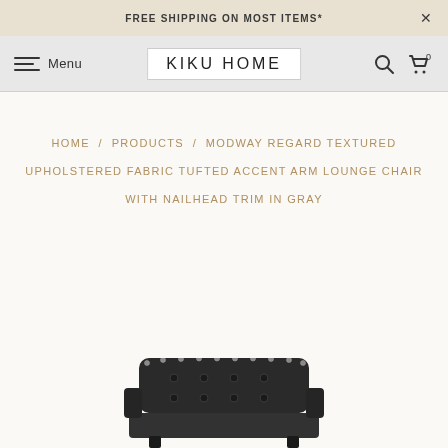FREE SHIPPING ON MOST ITEMS*
KIKU HOME  Menu
HOME / PRODUCTS / MODWAY REGARD TEXTURED UPHOLSTERED FABRIC TUFTED ACCENT ARM LOUNGE CHAIR WITH NAILHEAD TRIM IN GRAY
[Figure (photo): Partial view of a dark gray tufted accent arm lounge chair with nailhead trim, visible from the top portion against a white background]